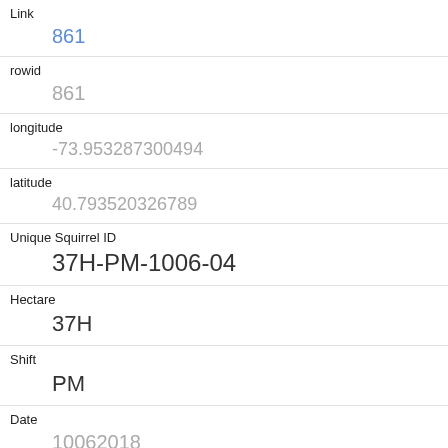| Field | Value |
| --- | --- |
| Link | 861 |
| rowid | 861 |
| longitude | -73.953287300494 |
| latitude | 40.793520326789 |
| Unique Squirrel ID | 37H-PM-1006-04 |
| Hectare | 37H |
| Shift | PM |
| Date | 10062018 |
| Hectare Squirrel Number | 4 |
| Age |  |
| Primary Fur Color |  |